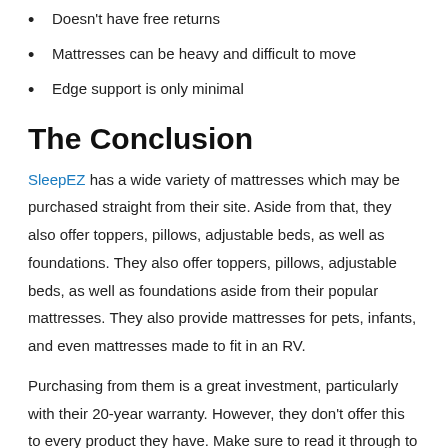Doesn't have free returns
Mattresses can be heavy and difficult to move
Edge support is only minimal
The Conclusion
SleepEZ has a wide variety of mattresses which may be purchased straight from their site. Aside from that, they also offer toppers, pillows, adjustable beds, as well as foundations. They also offer toppers, pillows, adjustable beds, as well as foundations aside from their popular mattresses. They also provide mattresses for pets, infants, and even mattresses made to fit in an RV.
Purchasing from them is a great investment, particularly with their 20-year warranty. However, they don't offer this to every product they have. Make sure to read it through to avoid any confusion.
The customizable options and the dual-firmness level are what